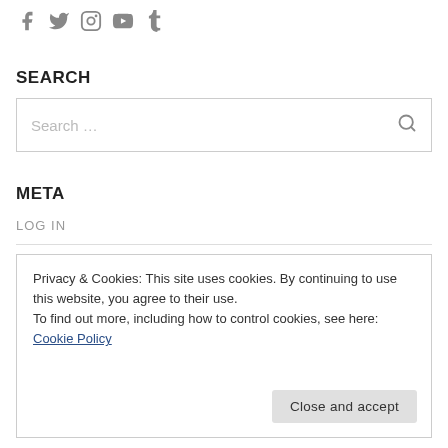[Figure (other): Social media icons for Facebook, Twitter, Instagram, YouTube, and Tumblr in gray]
SEARCH
[Figure (other): Search input box with placeholder text 'Search …' and a search icon on the right]
META
LOG IN
Privacy & Cookies: This site uses cookies. By continuing to use this website, you agree to their use.
To find out more, including how to control cookies, see here: Cookie Policy
Close and accept